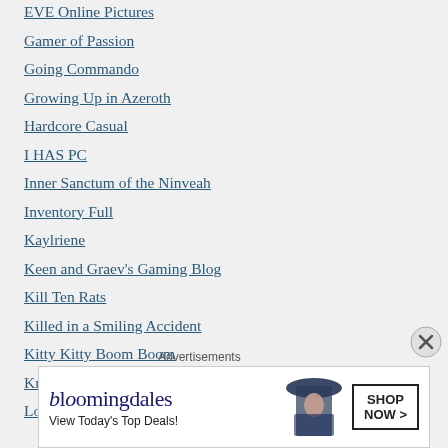EVE Online Pictures
Gamer of Passion
Going Commando
Growing Up in Azeroth
Hardcore Casual
I HAS PC
Inner Sanctum of the Ninveah
Inventory Full
Kaylriene
Keen and Graev's Gaming Blog
Kill Ten Rats
Killed in a Smiling Accident
Kitty Kitty Boom Boom
Knifesedge Blogs
Low Sec Lifestyle
Advertisements
[Figure (screenshot): Bloomingdale's advertisement banner showing 'bloomingdales View Today's Top Deals!' with a woman in a hat and a 'SHOP NOW >' button]